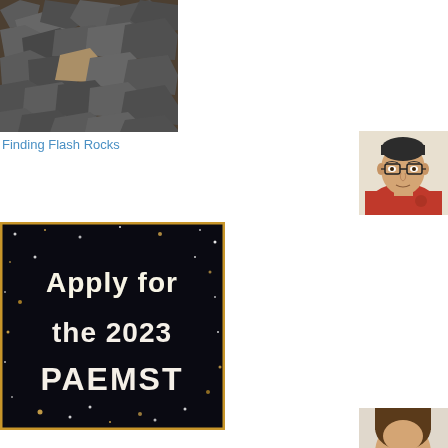[Figure (photo): Pile of dark grey gravel/flash rocks outdoors]
Finding Flash Rocks
[Figure (photo): Portrait of a man in a red polo shirt wearing glasses, standing against a beige wall]
[Figure (photo): Dark banner with gold border and white text reading 'Apply for the 2023 PAEMST' with starry/sparkle background]
Apply for the 2023 PAEMST Cycle
[Figure (photo): Partial portrait of a woman at the bottom right of the page]